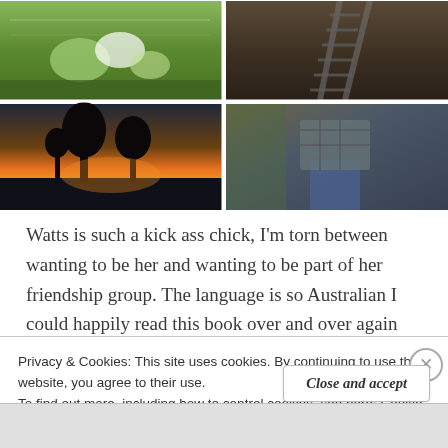[Figure (photo): A 2x2 photo grid: top-left shows green trees/nature scene, top-right shows railway tracks from above, bottom-left shows a golden sunset with tree silhouettes, bottom-right shows a person in plaid shirt and jeans standing outdoors]
Watts is such a kick ass chick, I'm torn between wanting to be her and wanting to be part of her friendship group. The language is so Australian I could happily read this book over and over again and the romance! It's not in your face and getting in the way of
Privacy & Cookies: This site uses cookies. By continuing to use this website, you agree to their use.
To find out more, including how to control cookies, see here: Cookie Policy
Close and accept